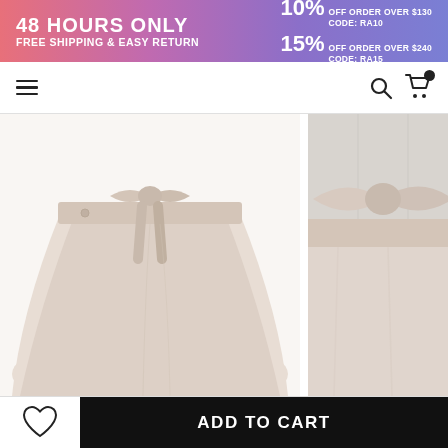[Figure (infographic): Promotional banner with gradient background from pink to purple. Left side: '48 HOURS ONLY / FREE SHIPPING & EASY RETURN'. Right side: '10% OFF ORDER OVER $130 CODE: RA10 / 15% OFF ORDER OVER $240 CODE: RA15']
[Figure (screenshot): Chicwish website navigation bar with hamburger menu icon on left, CHICWISH brand name in center, search and cart icons on right]
[Figure (photo): Two product photos of a cream/beige flared midi skirt with a bow tie waistband. Left photo shows full skirt, right photo shows a close-up of the bow detail.]
ADD TO CART